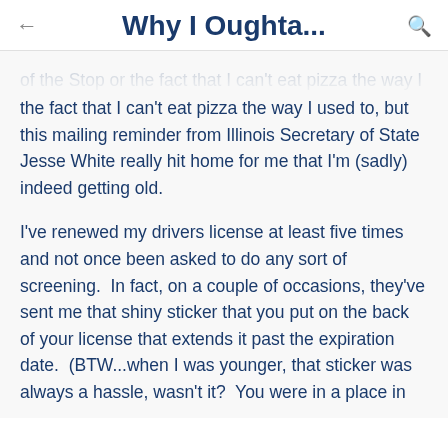Why I Oughta...
of the Stop or the fact that I can't eat pizza the way I used to, but this mailing reminder from Illinois Secretary of State Jesse White really hit home for me that I'm (sadly) indeed getting old.
I've renewed my drivers license at least five times and not once been asked to do any sort of screening.  In fact, on a couple of occasions, they've sent me that shiny sticker that you put on the back of your license that extends it past the expiration date.  (BTW...when I was younger, that sticker was always a hassle, wasn't it?  You were in a place in